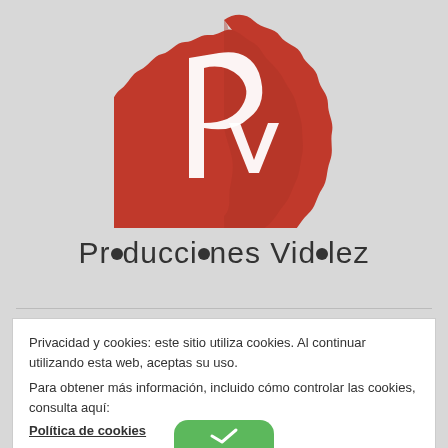[Figure (logo): Producciones Vidalez logo: red scalloped circle with white stylized 'Pv' letters, followed by the text 'Producciones Vidalez' in dark gray with circular dot accents replacing certain letters]
Privacidad y cookies: este sitio utiliza cookies. Al continuar utilizando esta web, aceptas su uso.
Para obtener más información, incluido cómo controlar las cookies, consulta aquí:
Política de cookies
Cerrar y aceptar